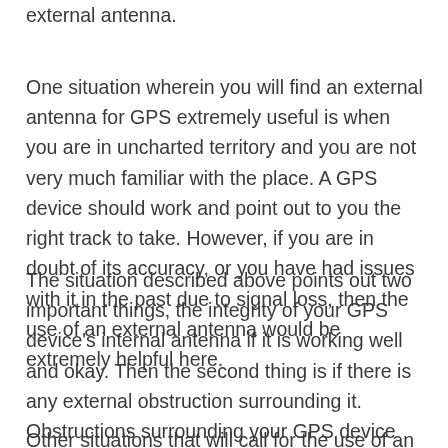external antenna.
One situation wherein you will find an external antenna for GPS extremely useful is when you are in uncharted territory and you are not very much familiar with the place. A GPS device should work and point out to you the right track to take. However, if you are in doubt of its accuracy, or you have had issues with it in the past due to signal loss, then the use of an external antenna would be extremely helpful here.
The situation described above points out two important things, the integrity of your GPS device's internal antenna if it is working well and okay. Then the second thing is if there is any external obstruction surrounding it. Obstructions surrounding your GPS device will interfere with the signal and thus disrupt the work of your GPS unit.
Other situations that will call for the use of an external antenna